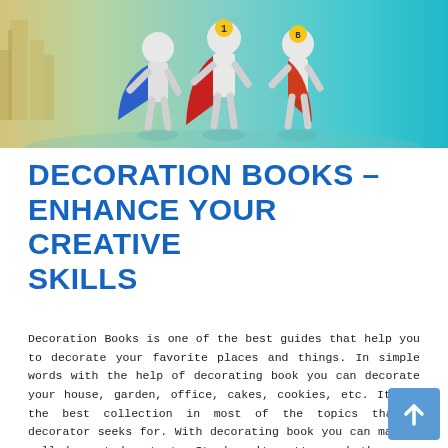[Figure (illustration): Hero banner image showing three superhero figures in white with colorful capes (blue, red, gold) against a gradient background of yellow-green to teal, with city buildings visible on the left side.]
DECORATION BOOKS – ENHANCE YOUR CREATIVE SKILLS
Decoration Books is one of the best guides that help you to decorate your favorite places and things. In simple words with the help of decorating book you can decorate your house, garden, office, cakes, cookies, etc. It has the best collection in most of the topics that a decorator seeks for. With decorating book you can make a well-decorated output. It doesn't matters whether you are a good decorator or not but with an appropriate decorating book you can decorate easily and quickly.